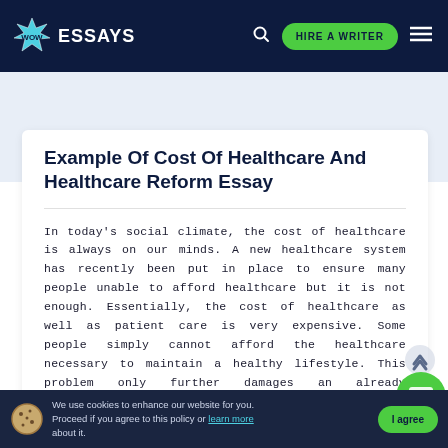WOW ESSAYS — navigation bar with HIRE A WRITER button
Example Of Cost Of Healthcare And Healthcare Reform Essay
In today's social climate, the cost of healthcare is always on our minds. A new healthcare system has recently been put in place to ensure many people unable to afford healthcare but it is not enough. Essentially, the cost of healthcare as well as patient care is very expensive. Some people simply cannot afford the healthcare necessary to maintain a healthy lifestyle. This problem only further damages an already deteriorating society, making people already in need healthcare even unhealthier. Steps need to be take
We use cookies to enhance our website for you. Proceed if you agree to this policy or learn more about it. I agree